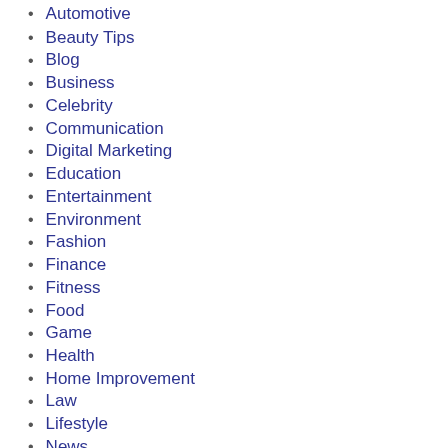Automotive
Beauty Tips
Blog
Business
Celebrity
Communication
Digital Marketing
Education
Entertainment
Environment
Fashion
Finance
Fitness
Food
Game
Health
Home Improvement
Law
Lifestyle
News
Real Estate
Social Media
Sports
Swimming